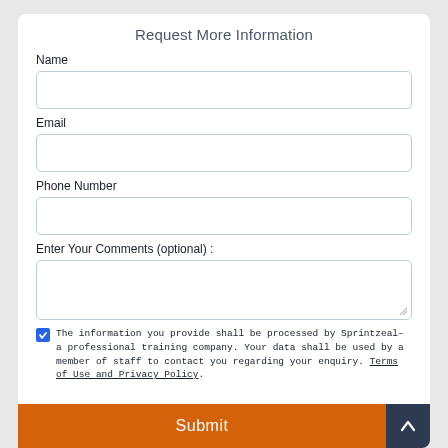Request More Information
Name
Email
Phone Number
Enter Your Comments (optional) :
The information you provide shall be processed by Sprintzeal– a professional training company. Your data shall be used by a member of staff to contact you regarding your enquiry. Terms of Use and Privacy Policy.
Submit